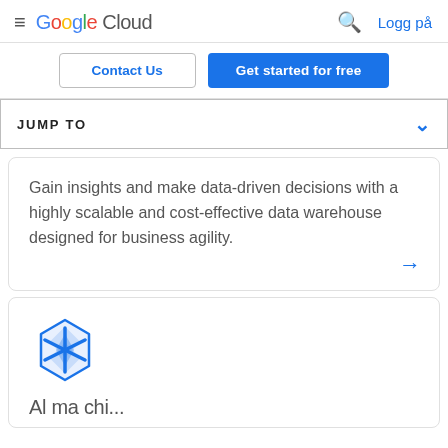Google Cloud — Logg på
Contact Us | Get started for free
JUMP TO
Gain insights and make data-driven decisions with a highly scalable and cost-effective data warehouse designed for business agility.
[Figure (logo): AI/ML hexagonal brain icon in blue, Google Cloud style]
Al ma chi...